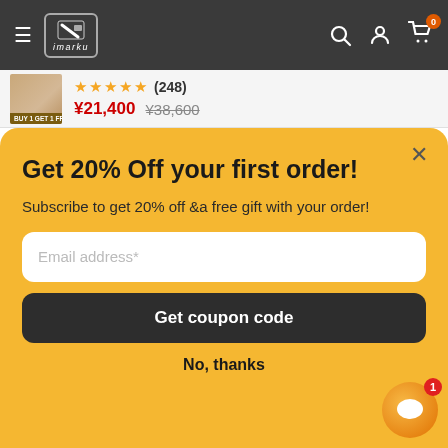imarku navigation bar with hamburger menu, logo, search, account, and cart icons
[Figure (screenshot): Product thumbnail showing kitchen knives with BUY 1 GET 1 FREE badge]
★★★★★ (248) ¥21,400 ¥38,600
Get 20% Off your first order!
Subscribe to get 20% off &a free gift with your order!
Email address*
Get coupon code
No, thanks